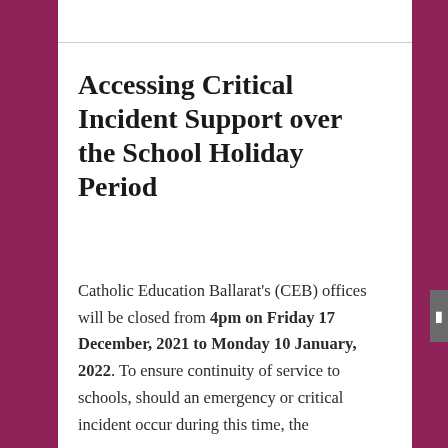Accessing Critical Incident Support over the School Holiday Period
Catholic Education Ballarat's (CEB) offices will be closed from 4pm on Friday 17 December, 2021 to Monday 10 January, 2022. To ensure continuity of service to schools, should an emergency or critical incident occur during this time, the